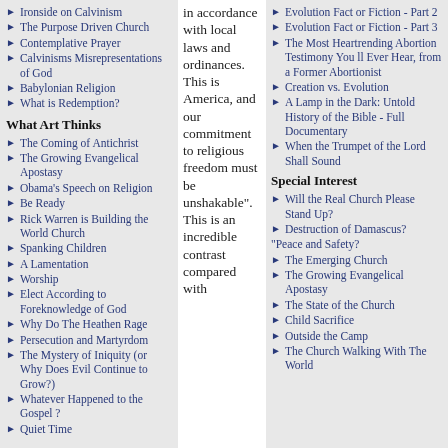Ironside on Calvinism
The Purpose Driven Church
Contemplative Prayer
Calvinisms Misrepresentations of God
Babylonian Religion
What is Redemption?
What Art Thinks
The Coming of Antichrist
The Growing Evangelical Apostasy
Obama's Speech on Religion
Be Ready
Rick Warren is Building the World Church
Spanking Children
A Lamentation
Worship
Elect According to Foreknowledge of God
Why Do The Heathen Rage
Persecution and Martyrdom
The Mystery of Iniquity (or Why Does Evil Continue to Grow?)
Whatever Happened to the Gospel ?
Quiet Time
in accordance with local laws and ordinances. This is America, and our commitment to religious freedom must be unshakable". This is an incredible contrast compared with
Evolution Fact or Fiction - Part 2
Evolution Fact or Fiction - Part 3
The Most Heartrending Abortion Testimony You ll Ever Hear, from a Former Abortionist
Creation vs. Evolution
A Lamp in the Dark: Untold History of the Bible - Full Documentary
When the Trumpet of the Lord Shall Sound
Special Interest
Will the Real Church Please Stand Up?
Destruction of Damascus?
"Peace and Safety?
The Emerging Church
The Growing Evangelical Apostasy
The State of the Church
Child Sacrifice
Outside the Camp
The Church Walking With The World